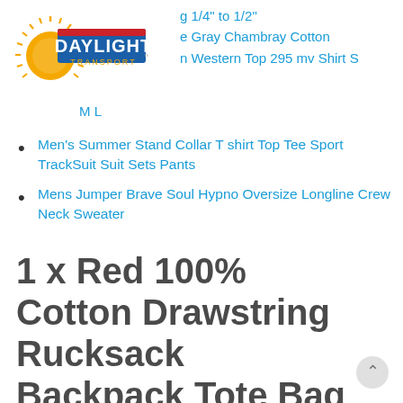[Figure (logo): Daylight Transport logo with sunburst and blue/red/yellow text]
g 1/4" to 1/2"
e Gray Chambray Cotton
n Western Top 295 mv Shirt S
M L
Men's Summer Stand Collar T shirt Top Tee Sport TrackSuit Suit Sets Pants
Mens Jumper Brave Soul Hypno Oversize Longline Crew Neck Sweater
1 x Red 100% Cotton Drawstring Rucksack Backpack Tote Bag PE sack Kids Sport